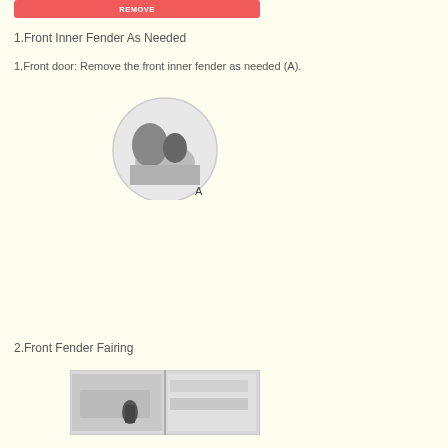1.Front Inner Fender As Needed
1.Front door: Remove the front inner fender as needed (A).
[Figure (photo): Circular photograph showing a person removing the front inner fender, with label A visible.]
2.Front Fender Fairing
[Figure (photo): Rectangular photograph showing the front fender fairing area with clips or fasteners visible.]